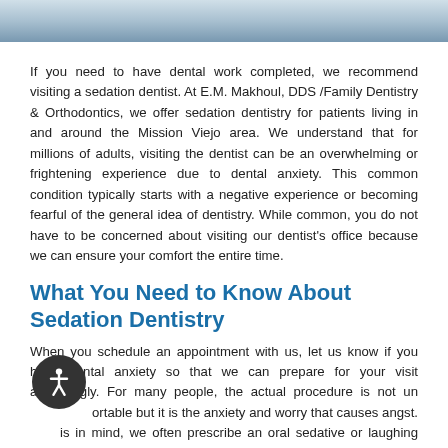[Figure (photo): Partial photo of a dental professional or patient, cropped at top of page]
If you need to have dental work completed, we recommend visiting a sedation dentist. At E.M. Makhoul, DDS /Family Dentistry & Orthodontics, we offer sedation dentistry for patients living in and around the Mission Viejo area. We understand that for millions of adults, visiting the dentist can be an overwhelming or frightening experience due to dental anxiety. This common condition typically starts with a negative experience or becoming fearful of the general idea of dentistry. While common, you do not have to be concerned about visiting our dentist's office because we can ensure your comfort the entire time.
What You Need to Know About Sedation Dentistry
When you schedule an appointment with us, let us know if you have dental anxiety so that we can prepare for your visit accordingly. For many people, the actual procedure is not uncomfortable but it is the anxiety and worry that causes angst. With this in mind, we often prescribe an oral sedative or laughing gas that can be administered prior to the appointment to help a